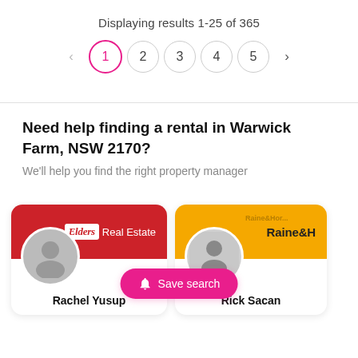Displaying results 1-25 of 365
[Figure (infographic): Pagination controls: left arrow, page buttons 1 (active/highlighted in pink), 2, 3, 4, 5, right arrow]
Need help finding a rental in Warwick Farm, NSW 2170?
We'll help you find the right property manager
[Figure (infographic): Two agent cards side by side. Left card: Elders Real Estate, agent Rachel Yusup with placeholder avatar. Right card: Raine & Horne, agent Rick Sacan with a photo. A pink 'Save search' button overlays the bottom center of the cards.]